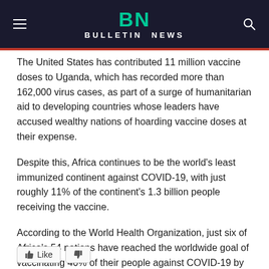BN BULLETIN NEWS
The United States has contributed 11 million vaccine doses to Uganda, which has recorded more than 162,000 virus cases, as part of a surge of humanitarian aid to developing countries whose leaders have accused wealthy nations of hoarding vaccine doses at their expense.
Despite this, Africa continues to be the world's least immunized continent against COVID-19, with just roughly 11% of the continent's 1.3 billion people receiving the vaccine.
According to the World Health Organization, just six of Africa's 54 nations have reached the worldwide goal of vaccinating 40% of their people against COVID-19 by the end of 2021.